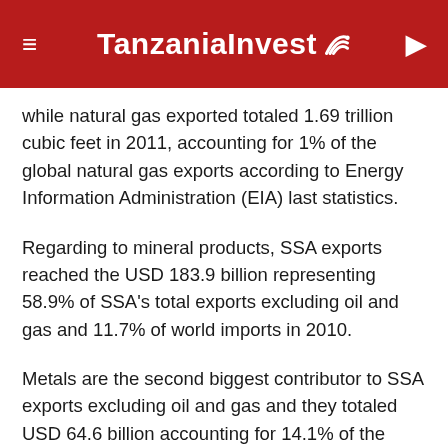TanzaniaInvest
while natural gas exported totaled 1.69 trillion cubic feet in 2011, accounting for 1% of the global natural gas exports according to Energy Information Administration (EIA) last statistics.
Regarding to mineral products, SSA exports reached the USD 183.9 billion representing 58.9% of SSA's total exports excluding oil and gas and 11.7% of world imports in 2010.
Metals are the second biggest contributor to SSA exports excluding oil and gas and they totaled USD 64.6 billion accounting for 14.1% of the region's total exports and 11.4% of the total imported in the world in 2010